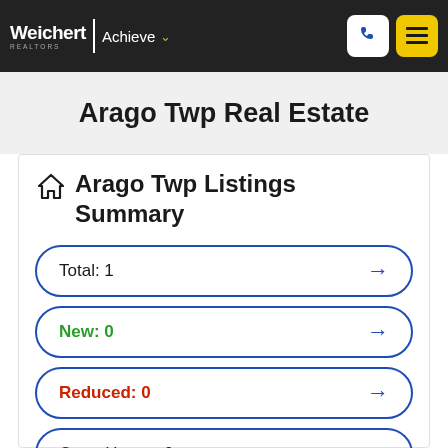Weichert | Achieve
Arago Twp Real Estate
Arago Twp Listings Summary
Total: 1
New: 0
Reduced: 0
Open House: 0